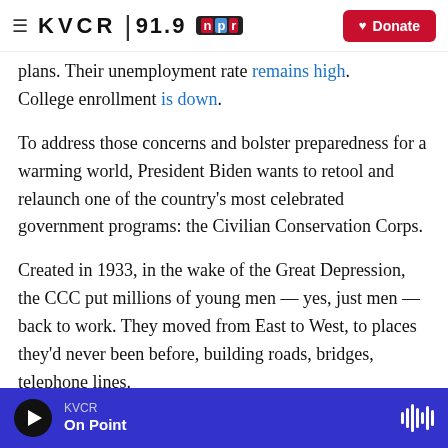KVCR 91.9 NPR | Donate
plans. Their unemployment rate remains high. College enrollment is down.
To address those concerns and bolster preparedness for a warming world, President Biden wants to retool and relaunch one of the country's most celebrated government programs: the Civilian Conservation Corps.
Created in 1933, in the wake of the Great Depression, the CCC put millions of young men — yes, just men — back to work. They moved from East to West, to places they'd never been before, building roads, bridges, telephone lines.
KVCR | On Point